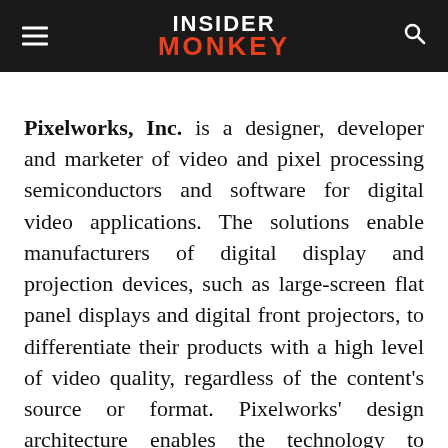INSIDER MONKEY
Pixelworks, Inc. is a designer, developer and marketer of video and pixel processing semiconductors and software for digital video applications. The solutions enable manufacturers of digital display and projection devices, such as large-screen flat panel displays and digital front projectors, to differentiate their products with a high level of video quality, regardless of the content's source or format. Pixelworks' design architecture enables the technology to produce image quality in the customer's products with a range of single-purpose integrated circuits (ICs), to system-on-chip (SoC) ICs that integrate microprocessor, memory and image